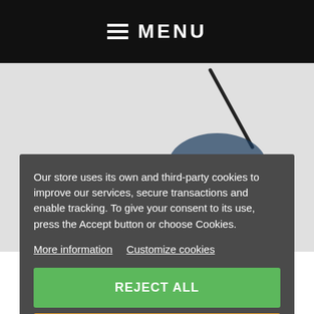≡ MENU
[Figure (photo): Partially visible product image of a DVB-T USB stick/antenna device behind the cookie consent modal overlay]
Our store uses its own and third-party cookies to improve our services, secure transactions and enable tracking. To give your consent to its use, press the Accept button or choose Cookies.
More information   Customize cookies
REJECT ALL
I ACCEPT
This HD DVB-T stick allows you to receive free TV channels DVB-T and compatible with DVB-T HD, from a PC, laptop, Raspberry Pi or smartphone with an OTG cable. The USB stick
24,90 € tax incl.